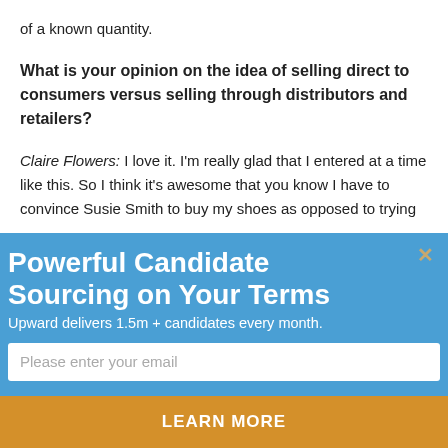of a known quantity.
What is your opinion on the idea of selling direct to consumers versus selling through distributors and retailers?
Claire Flowers: I love it. I'm really glad that I entered at a time like this. So I think it's awesome that you know I have to convince Susie Smith to buy my shoes as opposed to trying
Powerful Candidate Sourcing on Your Terms
Upward delivers 1.5m + candidates every month.
Please enter your email
LEARN MORE